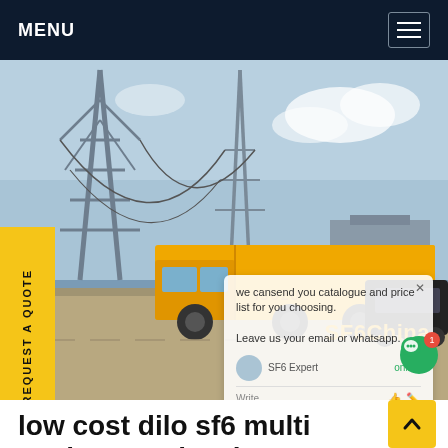MENU
[Figure (photo): An orange Isuzu truck parked in front of large electrical substation towers with a blue sky background. A chat popup overlay is visible on the right side saying 'we cansend you catalogue and price list for you choosing. Leave us your email or whatsapp.' SF6China watermark in orange at bottom right.]
low cost dilo sf6 multi analyser Malaysia